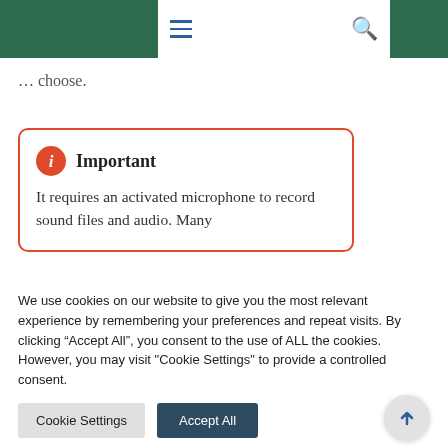Navigation bar with hamburger menu and search icon
... choose.
Important
It requires an activated microphone to record sound files and audio. Many
We use cookies on our website to give you the most relevant experience by remembering your preferences and repeat visits. By clicking "Accept All", you consent to the use of ALL the cookies. However, you may visit "Cookie Settings" to provide a controlled consent.